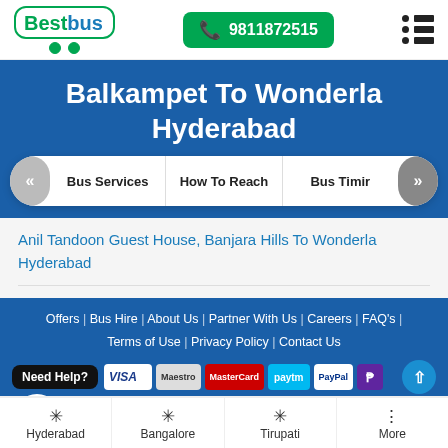BestBus | 9811872515
Balkampet To Wonderla Hyderabad
Bus Services | How To Reach | Bus Timir
Anil Tandoon Guest House, Banjara Hills To Wonderla Hyderabad
Offers | Bus Hire | About Us | Partner With Us | Careers | FAQ's | Terms of Use | Privacy Policy | Contact Us
Design & Developed By: SPARK INFOSYS
Hyderabad | Bangalore | Tirupati | More